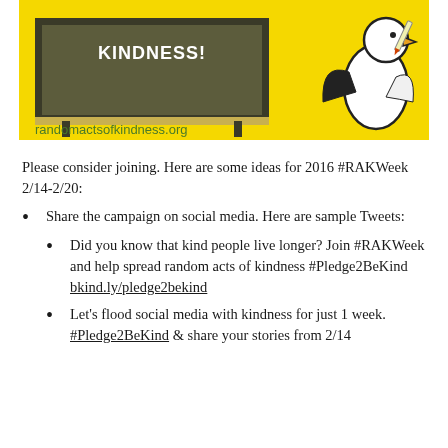[Figure (illustration): Yellow banner with a dark olive/green chalkboard reading 'KINDNESS!' and an illustrated bird (dove/penguin) on the right side, with URL randomactsofkindness.org below]
Please consider joining. Here are some ideas for 2016 #RAKWeek 2/14-2/20:
Share the campaign on social media. Here are sample Tweets:
Did you know that kind people live longer? Join #RAKWeek and help spread random acts of kindness #Pledge2BeKind bkind.ly/pledge2bekind
Let's flood social media with kindness for just 1 week. #Pledge2BeKind & share your stories from 2/14